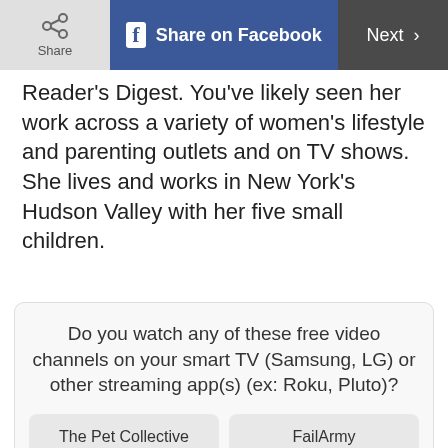Share | Share on Facebook | Next >
Reader's Digest. You've likely seen her work across a variety of women's lifestyle and parenting outlets and on TV shows. She lives and works in New York's Hudson Valley with her five small children.
Do you watch any of these free video channels on your smart TV (Samsung, LG) or other streaming app(s) (ex: Roku, Pluto)?
The Pet Collective
FailArmy